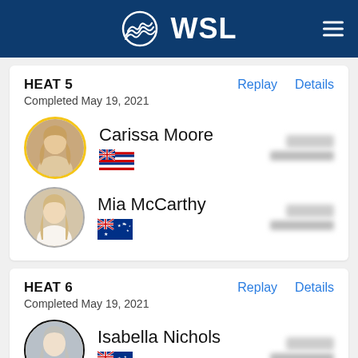[Figure (logo): WSL World Surf League logo on dark blue header background with hamburger menu icon]
HEAT 5
Completed May 19, 2021
Carissa Moore
Mia McCarthy
HEAT 6
Completed May 19, 2021
Isabella Nichols
Bronte Macaulay